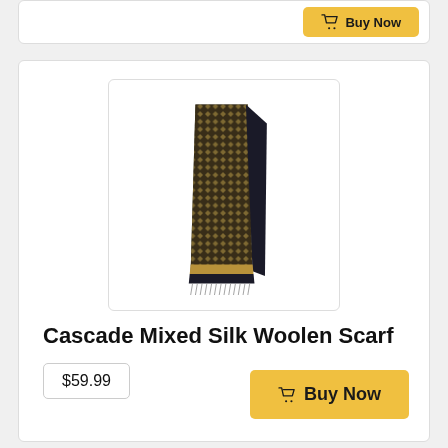[Figure (screenshot): Partial product card at top showing a Buy Now button on yellow/gold background]
[Figure (photo): Cascade Mixed Silk Woolen Scarf product image showing a folded dark navy and gold patterned scarf]
Cascade Mixed Silk Woolen Scarf
$59.99
Buy Now